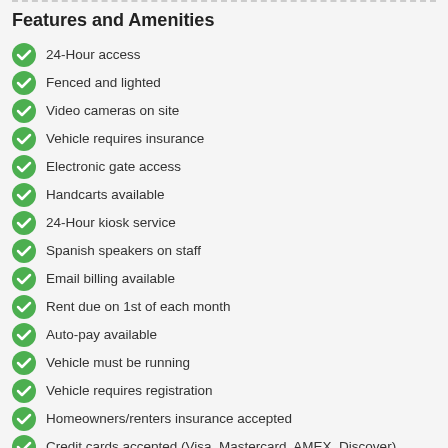Features and Amenities
24-Hour access
Fenced and lighted
Video cameras on site
Vehicle requires insurance
Electronic gate access
Handcarts available
24-Hour kiosk service
Spanish speakers on staff
Email billing available
Rent due on 1st of each month
Auto-pay available
Vehicle must be running
Vehicle requires registration
Homeowners/renters insurance accepted
Credit cards accepted (Visa, Mastercard, AMEX, Discover)